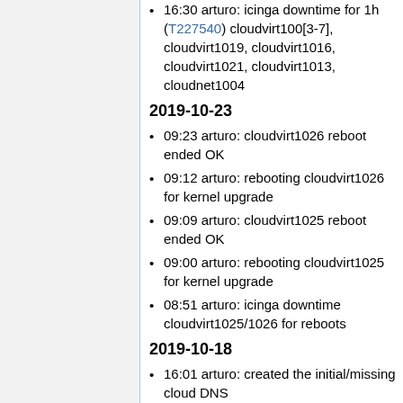16:30 arturo: icinga downtime for 1h (T227540) cloudvirt100[3-7], cloudvirt1019, cloudvirt1016, cloudvirt1021, cloudvirt1013, cloudnet1004
2019-10-23
09:23 arturo: cloudvirt1026 reboot ended OK
09:12 arturo: rebooting cloudvirt1026 for kernel upgrade
09:09 arturo: cloudvirt1025 reboot ended OK
09:00 arturo: rebooting cloudvirt1025 for kernel upgrade
08:51 arturo: icinga downtime cloudvirt1025/1026 for reboots
2019-10-18
16:01 arturo: created the initial/missing cloud DNS